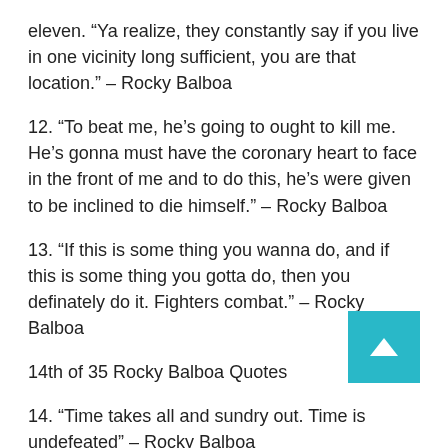eleven. “Ya realize, they constantly say if you live in one vicinity long sufficient, you are that location.” – Rocky Balboa
12. “To beat me, he’s going to ought to kill me. He’s gonna must have the coronary heart to face in the front of me and to do this, he’s were given to be inclined to die himself.” – Rocky Balboa
13. “If this is some thing you wanna do, and if this is some thing you gotta do, then you definately do it. Fighters combat.” – Rocky Balboa
14th of 35 Rocky Balboa Quotes
14. “Time takes all and sundry out. Time is undefeated” – Rocky Balboa
15. “I trust there’s an inner strength that makes winners or